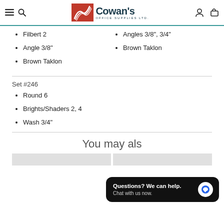Cowan's Office Supplies Ltd.
Filbert 2
Angle 3/8"
Brown Taklon
Angles 3/8", 3/4"
Brown Taklon
Set #246
Round 6
Brights/Shaders 2, 4
Wash 3/4"
You may als
Questions? We can help. Chat with us now.